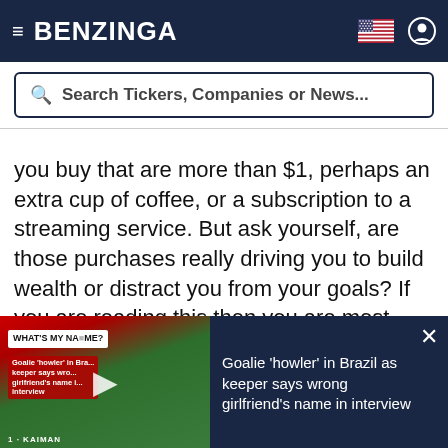BENZINGA
[Figure (screenshot): Search bar with text: Search Tickers, Companies or News...]
you buy that are more than $1, perhaps an extra cup of coffee, or a subscription to a streaming service. But ask yourself, are those purchases really driving you to build wealth or distract you from your goals? If you are reading this then you are most likely interested in earning more to secure your financial future for your family. Click Here to Start getting Real-time Options Trade Alerts from Full-time Trader Chris Capre for
[Figure (screenshot): Video overlay: Goalie 'howler' in Brazil as keeper says wrong girlfriend's name in interview. Thumbnail shows soccer players with WHAT'S MY NAME? text overlay.]